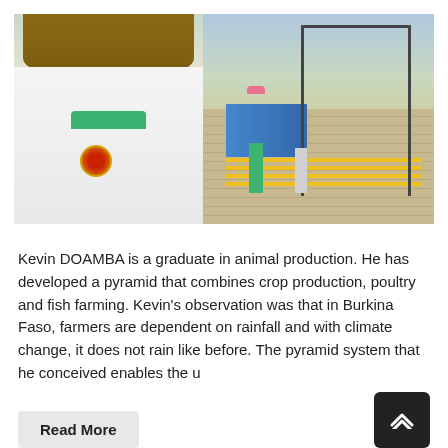[Figure (photo): A man wearing a white polo shirt with green collar and a logo on the chest stands in the foreground (left side). In the background on the right, workers in green shirts are seen near scaffolding and blue/yellow structures, with a brick wall behind them.]
Kevin DOAMBA is a graduate in animal production. He has developed a pyramid that combines crop production, poultry and fish farming. Kevin's observation was that in Burkina Faso, farmers are dependent on rainfall and with climate change, it does not rain like before. The pyramid system that he conceived enables the u
Read More